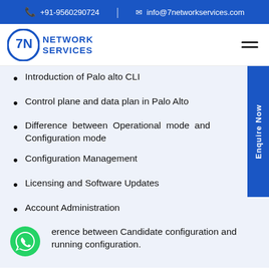+91-9560290724 | info@7networkservices.com
[Figure (logo): 7N Network Services logo with blue circle and text]
Introduction of Palo alto CLI
Control plane and data plan in Palo Alto
Difference between Operational mode and Configuration mode
Configuration Management
Licensing and Software Updates
Account Administration
Difference between Candidate configuration and running configuration.